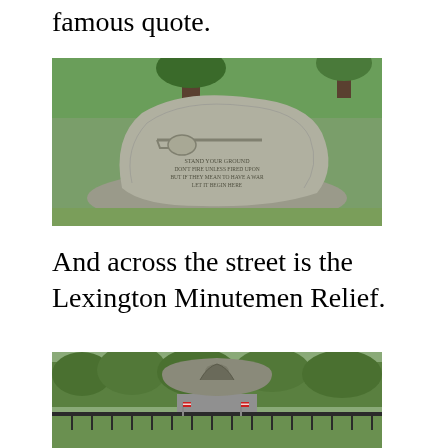famous quote.
[Figure (photo): A large granite boulder monument with an engraved musket relief and text reading: STAND YOUR GROUND / DON'T FIRE UNLESS FIRED UPON / BUT IF THEY MEAN TO HAVE A WAR / LET IT BEGIN HERE. The stone sits on a gravel base surrounded by green grass and trees.]
And across the street is the Lexington Minutemen Relief.
[Figure (photo): A stone relief monument depicting Minutemen soldiers, with decorative iron fencing in the foreground and trees in the background. Small American flags are visible at the base.]